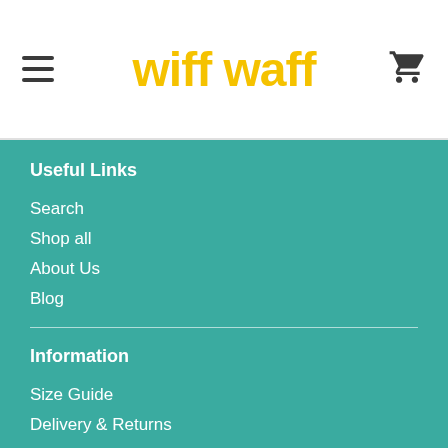wiff waff
Useful Links
Search
Shop all
About Us
Blog
Information
Size Guide
Delivery & Returns
Face Mask FAQs